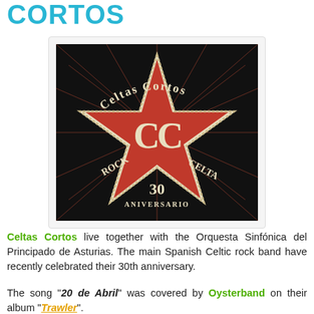CORTOS
[Figure (logo): Celtas Cortos 30 Aniversario logo: a red five-pointed star with cream/beige 'CC' monogram in center, text arcing around star: 'Celtas Cortos' at top, 'Rock Celta' on sides, '30 Aniversario' at bottom, on a black background with radiating lines]
Celtas Cortos live together with the Orquesta Sinfónica del Principado de Asturias. The main Spanish Celtic rock band have recently celebrated their 30th anniversary.
The song "20 de Abril" was covered by Oysterband on their album "Trawler".